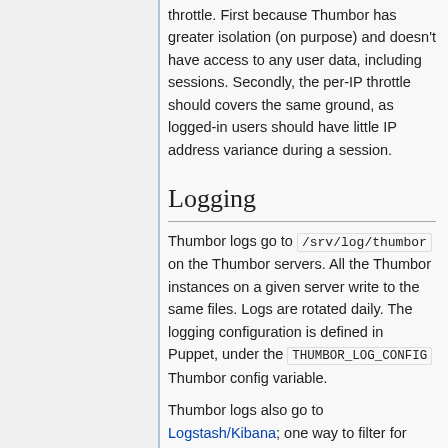throttle. First because Thumbor has greater isolation (on purpose) and doesn't have access to any user data, including sessions. Secondly, the per-IP throttle should covers the same ground, as logged-in users should have little IP address variance during a session.
Logging
Thumbor logs go to /srv/log/thumbor on the Thumbor servers. All the Thumbor instances on a given server write to the same files. Logs are rotated daily. The logging configuration is defined in Puppet, under the THUMBOR_LOG_CONFIG Thumbor config variable.
Thumbor logs also go to Logstash/Kibana; one way to filter for